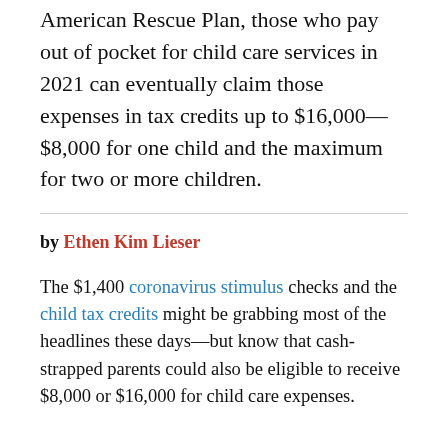American Rescue Plan, those who pay out of pocket for child care services in 2021 can eventually claim those expenses in tax credits up to $16,000—$8,000 for one child and the maximum for two or more children.
by Ethen Kim Lieser
The $1,400 coronavirus stimulus checks and the child tax credits might be grabbing most of the headlines these days—but know that cash-strapped parents could also be eligible to receive $8,000 or $16,000 for child care expenses.